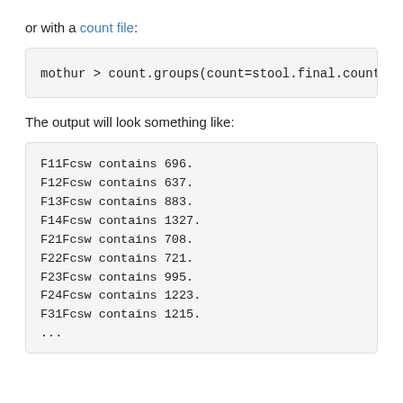or with a count file:
mothur > count.groups(count=stool.final.count_
The output will look something like:
F11Fcsw contains 696.
F12Fcsw contains 637.
F13Fcsw contains 883.
F14Fcsw contains 1327.
F21Fcsw contains 708.
F22Fcsw contains 721.
F23Fcsw contains 995.
F24Fcsw contains 1223.
F31Fcsw contains 1215.
...